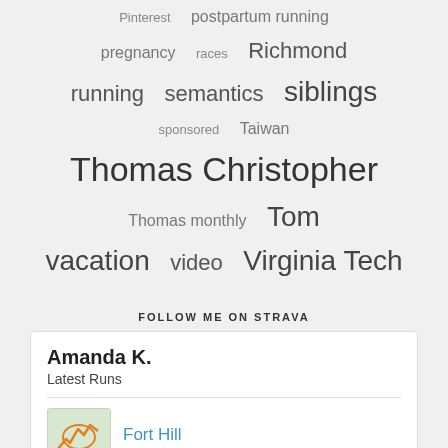Pinterest
postpartum running
pregnancy
races
Richmond
running
semantics
siblings
sponsored
Taiwan
Thomas Christopher
Thomas monthly
Tom
vacation
video
Virginia Tech
FOLLOW ME ON STRAVA
Amanda K.
Latest Runs
Fort Hill